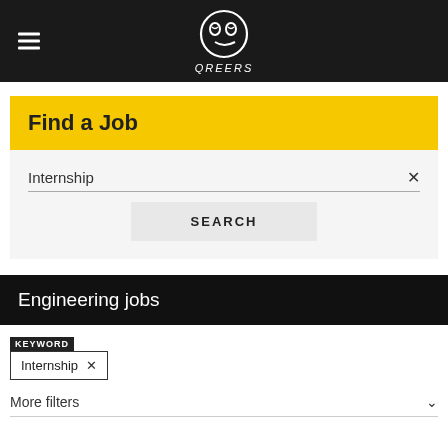QREERS logo and navigation header
Find a Job
Internship ×
SEARCH
Engineering jobs
KEYWORD
Internship ×
More filters